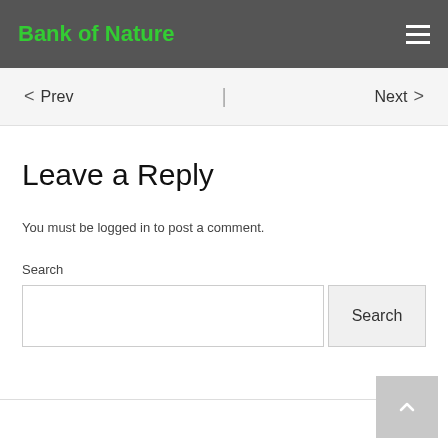Bank of Nature
< Prev | Next >
Leave a Reply
You must be logged in to post a comment.
Search
Search